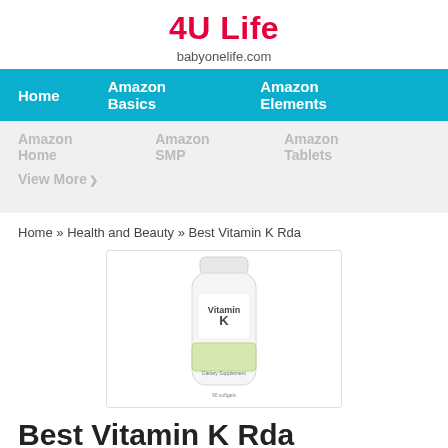4U Life
babyonelife.com
Home   Amazon Basics   Amazon Elements
Amazon Home   Amazon SMP   Amazon Tablets
View More »
Home » Health and Beauty » Best Vitamin K Rda
[Figure (photo): Product bottle image of Vitamin K supplement in a white rounded bottle with green label band]
Best Vitamin K Rda